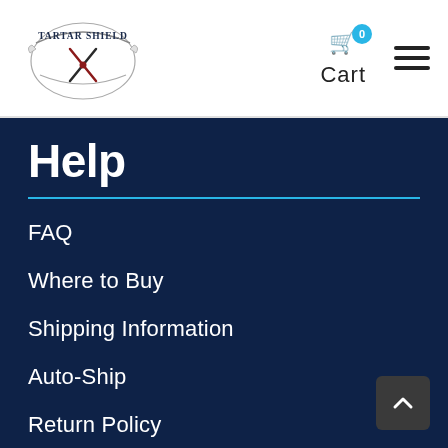[Figure (logo): Tartar Shield logo — circular emblem with banner arched at top reading TARTAR SHIELD, decorative crossed items in center, on white background]
Cart 0
[Figure (other): Hamburger menu icon with three horizontal lines]
Help
FAQ
Where to Buy
Shipping Information
Auto-Ship
Return Policy